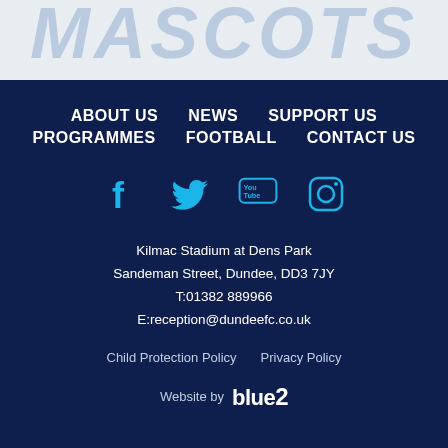[Figure (other): Watermark/background italic text partially visible at top of page]
ABOUT US   NEWS   SUPPORT US
PROGRAMMES   FOOTBALL   CONTACT US
[Figure (other): Social media icons: Facebook, Twitter, YouTube, Instagram in cyan/light blue on dark navy background]
Kilmac Stadium at Dens Park
Sandeman Street, Dundee, DD3 7JY
T:01382 889966
E:reception@dundeefc.co.uk
Child Protection Policy   Privacy Policy
Website by blue2